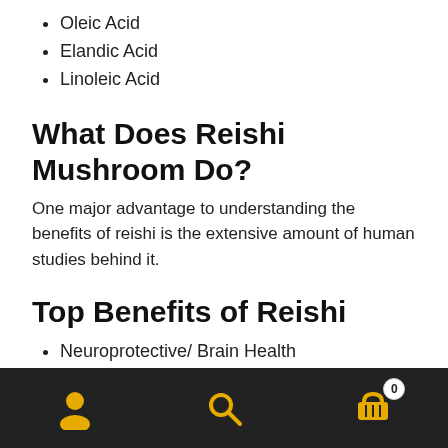Oleic Acid
Elandic Acid
Linoleic Acid
What Does Reishi Mushroom Do?
One major advantage to understanding the benefits of reishi is the extensive amount of human studies behind it.
Top Benefits of Reishi
Neuroprotective/ Brain Health
Antibacterial Properties
Immune Support Properties
Healthy Liver Support
Healthy Blood Pressure and Heart Health
Navigation bar with user, search, and cart (0) icons